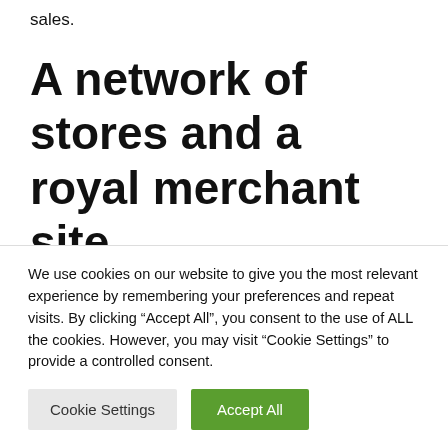sales.
A network of stores and a royal merchant site
Windsors, on the other hand, has a network of stores (Halcyon Days) that sell products
We use cookies on our website to give you the most relevant experience by remembering your preferences and repeat visits. By clicking “Accept All”, you consent to the use of ALL the cookies. However, you may visit "Cookie Settings" to provide a controlled consent.